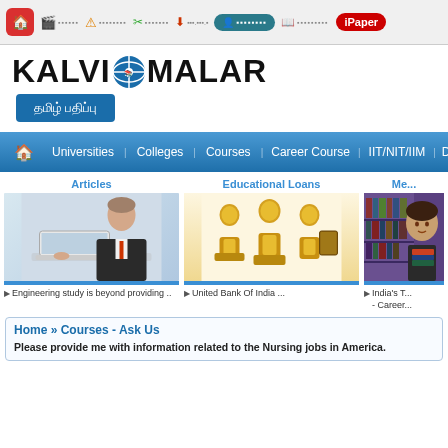Kalvi Malar website top navigation bar with home, movies, alert, jobs, news, courses, library icons and iPaper button
KALVI MALAR
தமிழ் பதிப்பு
Universities | Colleges | Courses | Career Course | IIT/NIT/IIM | Di...
Articles
[Figure (photo): Man in business suit working on laptop computer]
Engineering study is beyond providing ..
Educational Loans
[Figure (illustration): Three golden figurines sitting with laptops, representing educational loans]
United Bank Of India ...
Me...
[Figure (photo): Young woman smiling in a library holding books]
India's T... - Career...
Home » Courses - Ask Us
Please provide me with information related to the Nursing jobs in America.